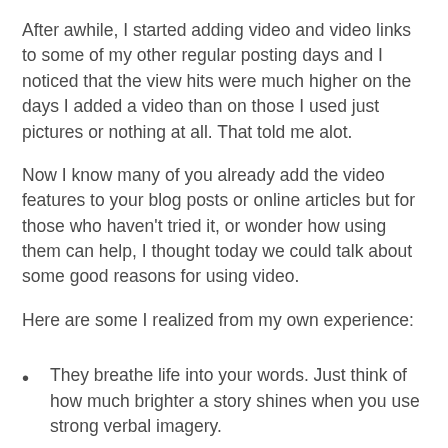After awhile, I started adding video and video links to some of my other regular posting days and I noticed that the view hits were much higher on the days I added a video than on those I used just pictures or nothing at all. That told me alot.
Now I know many of you already add the video features to your blog posts or online articles but for those who haven't tried it, or wonder how using them can help, I thought today we could talk about some good reasons for using video.
Here are some I realized from my own experience:
They breathe life into your words. Just think of how much brighter a story shines when you use strong verbal imagery.
Video can often bring a new emotional level to your piece. Visual cues, especially music videos, are deeply connected to our memory bank. Think